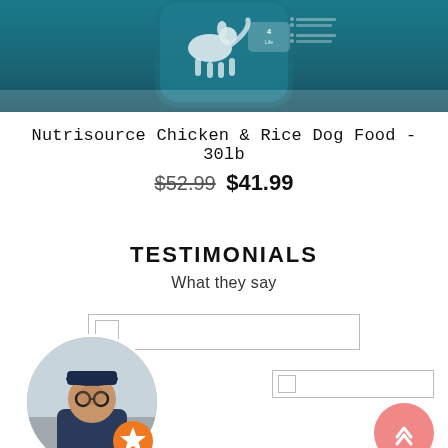[Figure (photo): Nutrisource dog food bag in teal packaging with dog and paw print graphics, cropped top portion visible]
Nutrisource Chicken & Rice Dog Food - 30lb
$52.99  $41.99
TESTIMONIALS
What they say
[Figure (screenshot): UI input elements: a wide input box with checkbox on left, and a smaller input box with checkbox, plus a testimonial avatar photo of a man with glasses wearing a cap, with an orange star badge overlay, and a pink back-to-top arrow button]